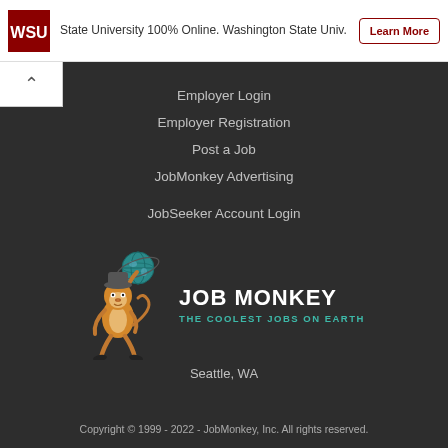[Figure (screenshot): Top banner with Washington State University logo, text about WSU 100% Online program, and a Learn More button]
Employer Login
Employer Registration
Post a Job
JobMonkey Advertising
JobSeeker Account Login
[Figure (logo): JobMonkey logo: cartoon monkey balancing a globe, with text JOB MONKEY in white bold and THE COOLEST JOBS ON EARTH in teal, Seattle, WA below]
Copyright © 1999 - 2022 - JobMonkey, Inc. All rights reserved.